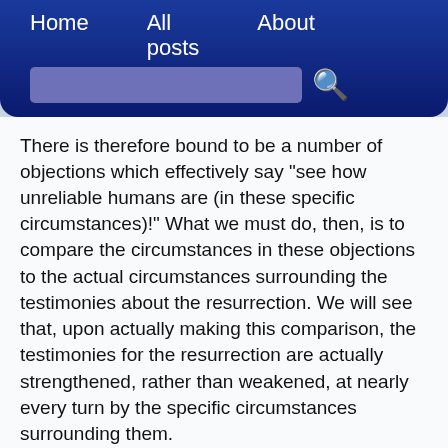Home   All posts   About
There is therefore bound to be a number of objections which effectively say "see how unreliable humans are (in these specific circumstances)!" What we must do, then, is to compare the circumstances in these objections to the actual circumstances surrounding the testimonies about the resurrection. We will see that, upon actually making this comparison, the testimonies for the resurrection are actually strengthened, rather than weakened, at nearly every turn by the specific circumstances surrounding them.
So, let's tackle the issue of eyewitness testimonies. The question of unreliable eyewitness testimonies